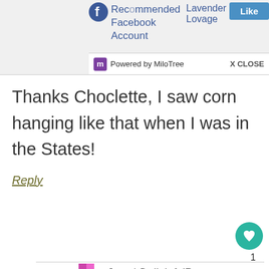[Figure (screenshot): Top portion of a MiloTree Facebook popup widget showing a recommended Facebook account for 'Lavender and Lovage' with a Like button and 'Powered by MiloTree' footer with X CLOSE option]
Thanks Choclette, I saw corn hanging like that when I was in the States!
Reply
[Figure (other): Teal circular heart/like button]
1
Jean | DelightfulRepast.com says